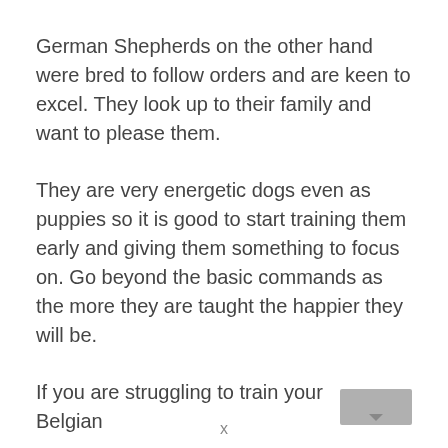German Shepherds on the other hand were bred to follow orders and are keen to excel. They look up to their family and want to please them.
They are very energetic dogs even as puppies so it is good to start training them early and giving them something to focus on. Go beyond the basic commands as the more they are taught the happier they will be.
If you are struggling to train your Belgian [image]
x